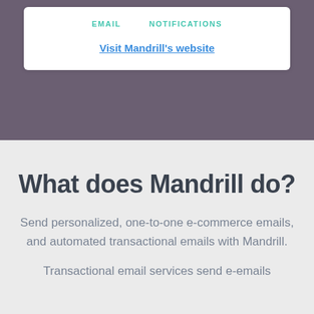EMAIL    NOTIFICATIONS
Visit Mandrill's website
What does Mandrill do?
Send personalized, one-to-one e-commerce emails, and automated transactional emails with Mandrill.
Transactional email services send e-emails...